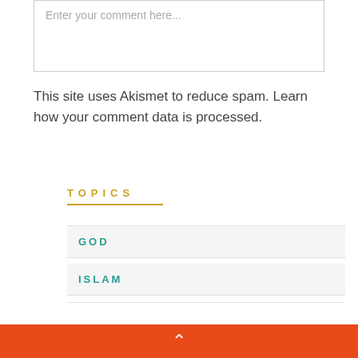Enter your comment here...
This site uses Akismet to reduce spam. Learn how your comment data is processed.
TOPICS
GOD
ISLAM
AHMADIYYA
RELIGIOUS CONCEPTS
^